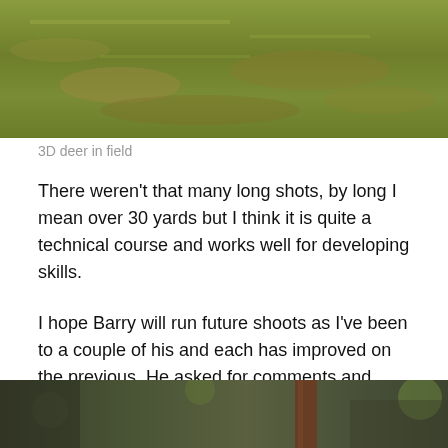[Figure (photo): Top portion of a photo showing a grassy field, green with some brown patches, partial crop of a 3D deer in field image]
3D deer in field
There weren't that many long shots, by long I mean over 30 yards but I think it is quite a technical course and works well for developing skills.
I hope Barry will run future shoots as I've been to a couple of his and each has improved on the previous. He asked for comments and feedback and I think he's received lots, the majority of which have been positive and constructive in any criticism.
[Figure (photo): Bottom portion showing a blurry outdoor woodland/forest scene with dark greens, a brown vertical post or tree trunk, and bokeh background]